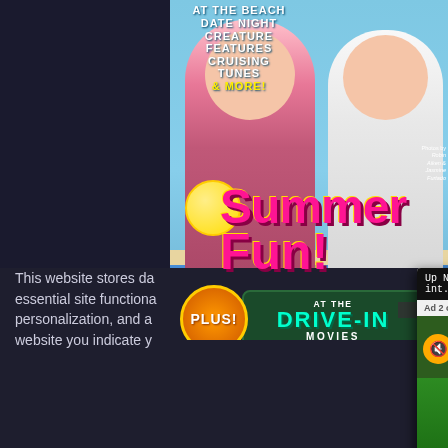[Figure (photo): Magazine cover with Summer Fun! theme showing a young couple at the beach, with promotional text items listed on the left side]
AT THE BEACH
DATE NIGHT
CREATURE FEATURES
CRUISING TUNES
& MORE!
Summer Fun!
PLUS! AT THE DRIVE-IN MOVIES
[Figure (screenshot): Video overlay showing 'Up Next - Coaching Takeaways Back int...' with Ad 2 of 2 (0:15) and a football game thumbnail with players]
This website stores da essential site functiona personalization, and a website you indicate y